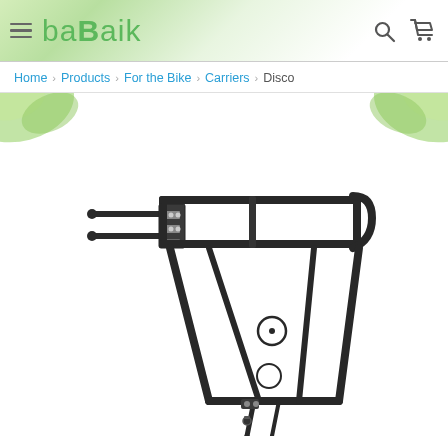babaik — Home > Products > For the Bike > Carriers > Disco
Home > Products > For the Bike > Carriers > Disco
[Figure (photo): Black aluminum bicycle rear carrier/rack (Disco model) shown on white background with green leaf decorative elements in top corners. The rack has a flat top platform with side rails, two diagonal support struts forming a triangular frame, adjustable mounting hardware, and lower strut connectors.]